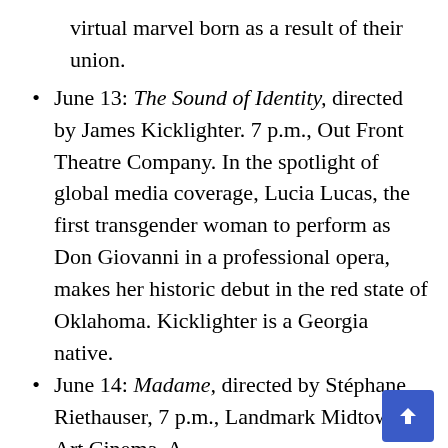virtual marvel born as a result of their union.
June 13: The Sound of Identity, directed by James Kicklighter. 7 p.m., Out Front Theatre Company. In the spotlight of global media coverage, Lucia Lucas, the first transgender woman to perform as Don Giovanni in a professional opera, makes her historic debut in the red state of Oklahoma. Kicklighter is a Georgia native.
June 14: Madame, directed by Stéphane Riethauser, 7 p.m., Landmark Midtown Art Cinema. A